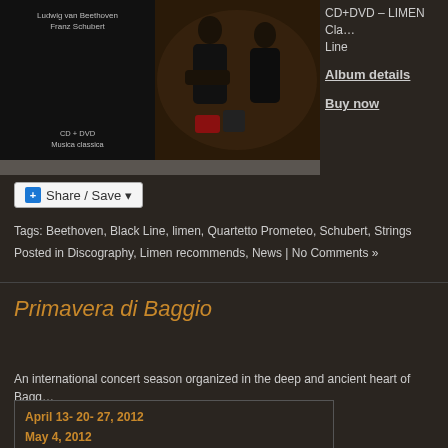[Figure (photo): Album cover showing Ludwig van Beethoven / Franz Schubert CD+DVD Musica classica, alongside a photo of musicians in dark outdoor setting]
CD+DVD – LIMEN Cla… Line
Album details
Buy now
Share / Save
Tags: Beethoven, Black Line, limen, Quartetto Prometeo, Schubert, Strings
Posted in Discography, Limen recommends, News | No Comments »
Primavera di Baggio
An international concert season organized in the deep and ancient heart of Bagg…
April 13- 20- 27,  2012
May 4, 2012